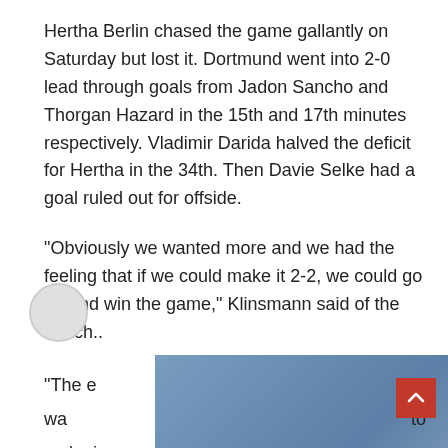Hertha Berlin chased the game gallantly on Saturday but lost it. Dortmund went into 2-0 lead through goals from Jadon Sancho and Thorgan Hazard in the 15th and 17th minutes respectively. Vladimir Darida halved the deficit for Hertha in the 34th. Then Davie Selke had a goal ruled out for offside.
“Obviously we wanted more and we had the feeling that if we could make it 2-2, we could go on and win the game,” Klinsmann said of the match..
[Figure (other): Vrbo advertisement banner showing a blurred vacation home with 'Vrbo' logo text overlaid, with close and navigation icons in the top-right corner.]
“The e[...] it wa[...] to make i[...]